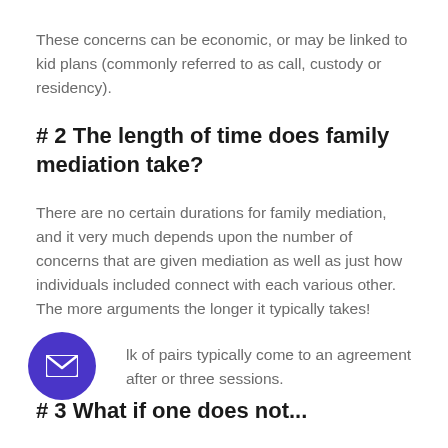These concerns can be economic, or may be linked to kid plans (commonly referred to as call, custody or residency).
# 2 The length of time does family mediation take?
There are no certain durations for family mediation, and it very much depends upon the number of concerns that are given mediation as well as just how individuals included connect with each various other. The more arguments the longer it typically takes!
lk of pairs typically come to an agreement after or three sessions.
# 3 What if one does not...